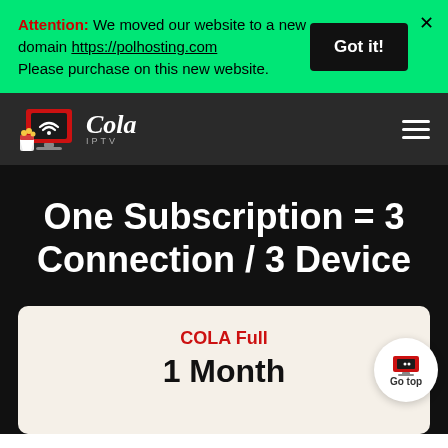Attention: We moved our website to a new domain https://polhosting.com Please purchase on this new website.
Got it!
[Figure (logo): Cola IPTV logo with TV screen showing WiFi signal and popcorn]
One Subscription = 3 Connection / 3 Device
COLA Full
1 Month